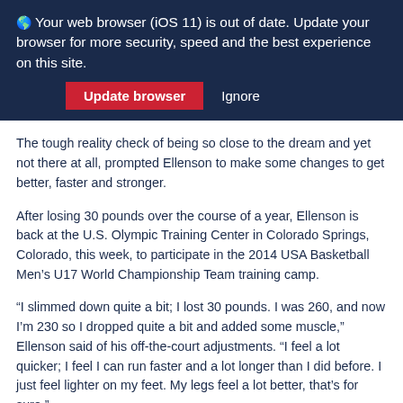🌐 Your web browser (iOS 11) is out of date. Update your browser for more security, speed and the best experience on this site. [Update browser] [Ignore]
The tough reality check of being so close to the dream and yet not there at all, prompted Ellenson to make some changes to get better, faster and stronger.
After losing 30 pounds over the course of a year, Ellenson is back at the U.S. Olympic Training Center in Colorado Springs, Colorado, this week, to participate in the 2014 USA Basketball Men's U17 World Championship Team training camp.
“I slimmed down quite a bit; I lost 30 pounds. I was 260, and now I’m 230 so I dropped quite a bit and added some muscle,” Ellenson said of his off-the-court adjustments. “I feel a lot quicker; I feel I can run faster and a lot longer than I did before. I just feel lighter on my feet. My legs feel a lot better, that’s for sure.”